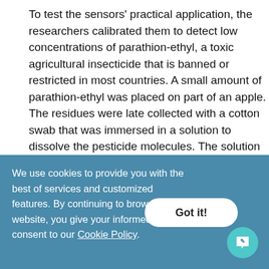To test the sensors' practical application, the researchers calibrated them to detect low concentrations of parathion-ethyl, a toxic agricultural insecticide that is banned or restricted in most countries. A small amount of parathion-ethyl was placed on part of an apple. The residues were later collected with a cotton swab that was immersed in a solution to dissolve the pesticide molecules. The solution was dropped on the sensor, which confirmed the presence of pesticides.
[Figure (photo): Four dark-colored square sensor panels arranged side by side, ranging from reddish-brown on the left to near-black on the right, with a small red square marker visible on the rightmost panel.]
We use cookies to provide you with the best of services and customized features. By continuing to browse this website, you give your informed consent to our Cookie Policy.